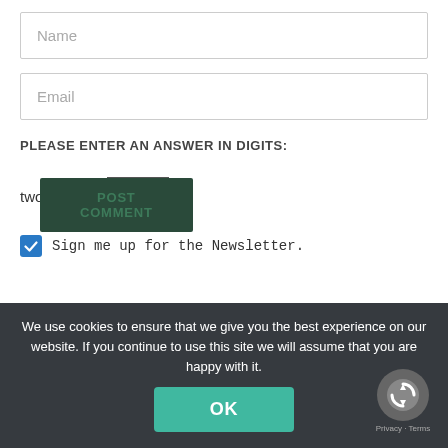Name
Email
PLEASE ENTER AN ANSWER IN DIGITS:
Sign me up for the Newsletter.
POST COMMENT
We use cookies to ensure that we give you the best experience on our website. If you continue to use this site we will assume that you are happy with it.
OK